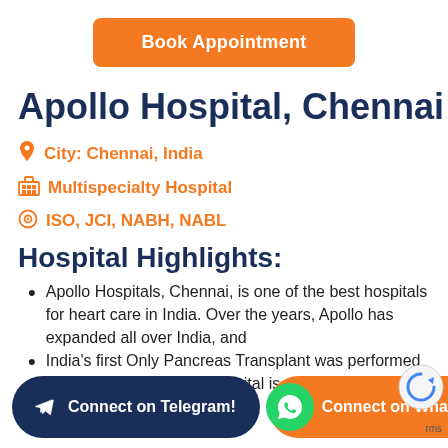[Figure (other): Orange 'Book Appointment' button at top center]
Apollo Hospital, Chennai
City: Chennai, India
Multispecialty Hospital
ISO, JCI, NABH, NABL
Hospital Highlights:
Apollo Hospitals, Chennai, is one of the best hospitals for heart care in India. Over the years, Apollo has expanded all over India, and
India's first Only Pancreas Transplant was performed in Apollo Hospital. The hospital is